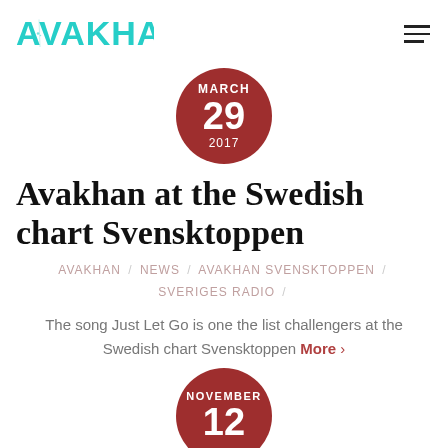AVAKHAN [logo]
[Figure (other): Date circle: MARCH 29 2017 in dark red circle]
Avakhan at the Swedish chart Svensktoppen
AVAKHAN / NEWS / AVAKHAN SVENSKTOPPEN / SVERIGES RADIO /
The song Just Let Go is one the list challengers at the Swedish chart Svensktoppen More >
[Figure (other): Date circle: NOVEMBER 12 (partial, cut off) in dark red circle]